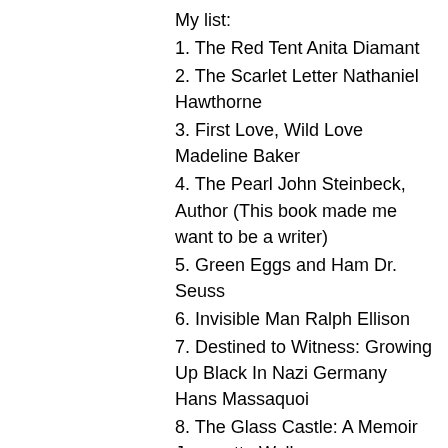My list:
1. The Red Tent Anita Diamant
2. The Scarlet Letter Nathaniel Hawthorne
3. First Love, Wild Love Madeline Baker
4. The Pearl John Steinbeck, Author (This book made me want to be a writer)
5. Green Eggs and Ham Dr. Seuss
6. Invisible Man Ralph Ellison
7. Destined to Witness: Growing Up Black In Nazi Germany Hans Massaquoi
8. The Glass Castle: A Memoir Jeannette Walls
9. Short Stories and Poems by Edgar Allan Poe and Ernest Hemingway